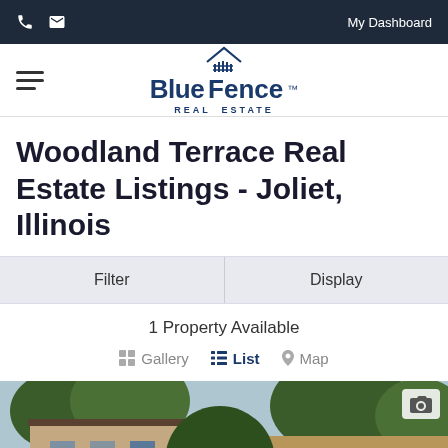Phone | Email | My Dashboard
[Figure (logo): BlueFence Real Estate logo with house icon]
Woodland Terrace Real Estate Listings - Joliet, Illinois
Filter | Display
1 Property Available
Gallery | List | Map
[Figure (photo): Exterior photo of a multi-story brick apartment building with wooden balconies and green trees]